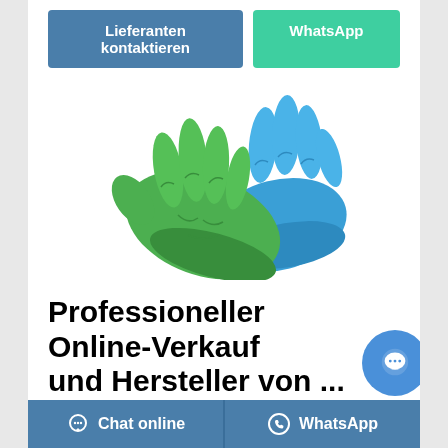Lieferanten kontaktieren
WhatsApp
[Figure (photo): Two disposable nitrile gloves — one green and one blue — overlapping each other on a white background.]
Professioneller Online-Verkauf und Hersteller von ...
AoGrand bietet OEM / ODM-Dienstleistungen für medizinische Einweg-Nitrilhandschuhe an. Als ehrlicher Hersteller und Lieferant von medizinischen Einweg-Nitrilhandschuhen bieten wir auch weltweite
Chat online
WhatsApp